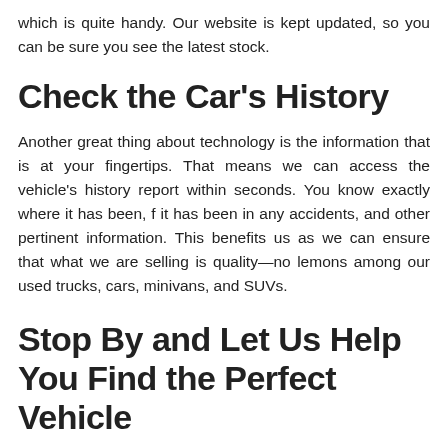which is quite handy. Our website is kept updated, so you can be sure you see the latest stock.
Check the Car's History
Another great thing about technology is the information that is at your fingertips. That means we can access the vehicle's history report within seconds. You know exactly where it has been, f it has been in any accidents, and other pertinent information. This benefits us as we can ensure that what we are selling is quality—no lemons among our used trucks, cars, minivans, and SUVs.
Stop By and Let Us Help You Find the Perfect Vehicle
When you stop by and talk with our friendly team at 5 Star Auto Plaza, we can help you get the best possible deal on the vehicle you want. We have many financing options available. If you want an auto dealer in St. Louis you can trust, give us a